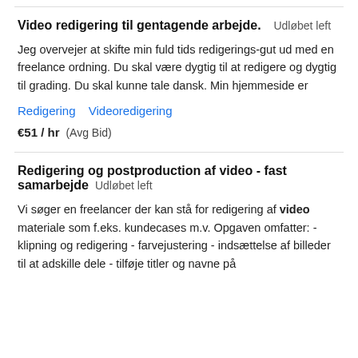Video redigering til gentagende arbejde.  Udløbet left
Jeg overvejer at skifte min fuld tids redigerings-gut ud med en freelance ordning. Du skal være dygtig til at redigere og dygtig til grading. Du skal kunne tale dansk. Min hjemmeside er
Redigering   Videoredigering
€51 / hr  (Avg Bid)
Redigering og postproduction af video - fast samarbejde  Udløbet left
Vi søger en freelancer der kan stå for redigering af video materiale som f.eks. kundecases m.v. Opgaven omfatter: - klipning og redigering - farvejustering - indsættelse af billeder til at adskille dele - tilføje titler og navne på